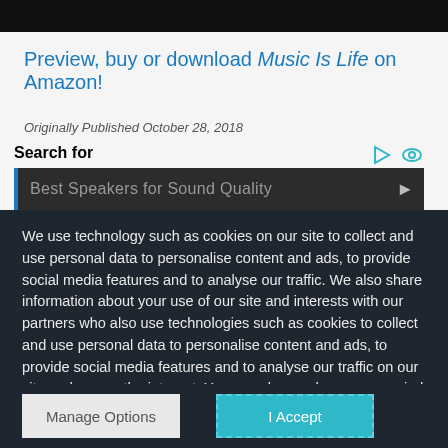[Figure (screenshot): Black navigation/header bar at top of page]
Preview, buy or download Music Is Life on Amazon!
Originally Published October 28, 2018
Search for
Best Speakers for Sound Quality
We use technology such as cookies on our site to collect and use personal data to personalise content and ads, to provide social media features and to analyse our traffic. We also share information about your use of our site and interests with our partners who also use technologies such as cookies to collect and use personal data to personalise content and ads, to provide social media features and to analyse our traffic on our site and across the internet. You can always change your mind and revisit your choices.
Manage Options | I Accept